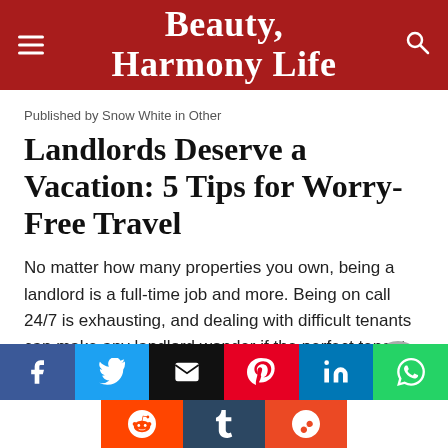Beauty Harmony Life
Published by Snow White in Other
Landlords Deserve a Vacation: 5 Tips for Worry-Free Travel
No matter how many properties you own, being a landlord is a full-time job and more. Being on call 24/7 is exhausting, and dealing with difficult tenants can make any landlord wonder if the perfect tenant exists.
[Figure (infographic): Social media share buttons: Facebook, Twitter, Email, Pinterest, LinkedIn, WhatsApp (top row); Reddit, Tumblr, StumbleUpon (bottom row)]